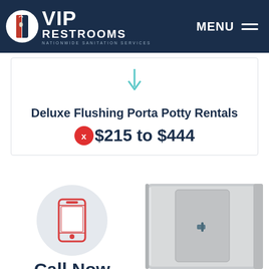[Figure (logo): VIP Restrooms logo with circle icon showing a portable restroom door, white text on navy background]
MENU
[Figure (illustration): Teal/cyan downward arrow indicating scrolling or next section]
Deluxe Flushing Porta Potty Rentals
$215 to $444
[Figure (illustration): Red outline smartphone icon on light grey circle background]
Call Now
1-888-477-0419
[Figure (photo): Partial view of a silver/grey deluxe portable restroom unit]